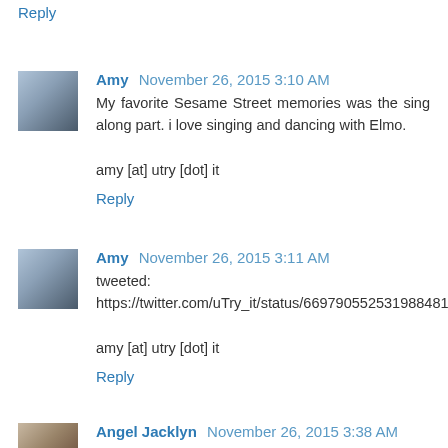Reply
Amy  November 26, 2015 3:10 AM
My favorite Sesame Street memories was the sing along part. i love singing and dancing with Elmo.

amy [at] utry [dot] it
Reply
Amy  November 26, 2015 3:11 AM
tweeted:
https://twitter.com/uTry_it/status/669790552531988481

amy [at] utry [dot] it
Reply
Angel Jacklyn  November 26, 2015 3:38 AM